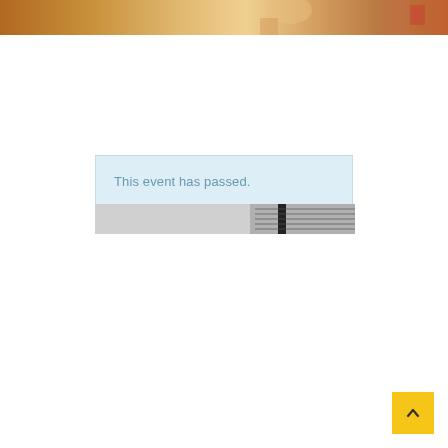[Figure (photo): Partial header banner image showing a person with warm tones — appears to be a vintage or artistic photo cropped at the top of the page]
This event has passed.
[Figure (photo): Partial image of a guitar neck/strings in black and white, cropped]
[Figure (other): Yellow scroll-to-top button with upward arrow in bottom right corner]